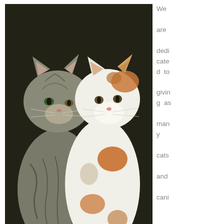[Figure (photo): Two cats side by side — a grey tabby on the left with its paw around a calico/white cat on the right, photographed against a dark background.]
We are dedicated to giving as many cats and canine a second probability to find loving properties as doable. Candidates had an choice of raising objections until December 10, 2018. Even the advent of Kitty Litter in 1947 could not contain them completely; tomcats still prowled alleys at